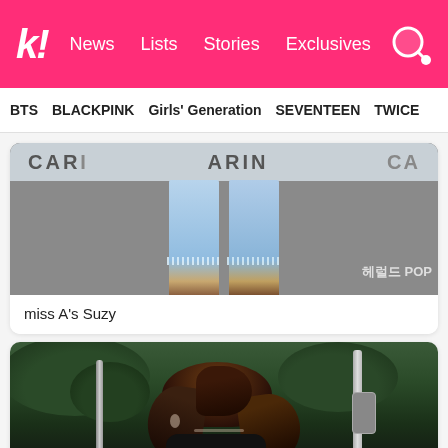k! News Lists Stories Exclusives
BTS BLACKPINK Girls' Generation SEVENTEEN TWICE
[Figure (photo): Photo of miss A's Suzy wearing flared jeans with frayed hem and brown sandals at a CARIN branded event backdrop. Korean watermark reads 헤럴드 POP.]
miss A's Suzy
[Figure (photo): Photo of a young woman with long brown hair looking downward, wearing a dark top, standing outdoors with greenery, trees, and metal poles in the background.]